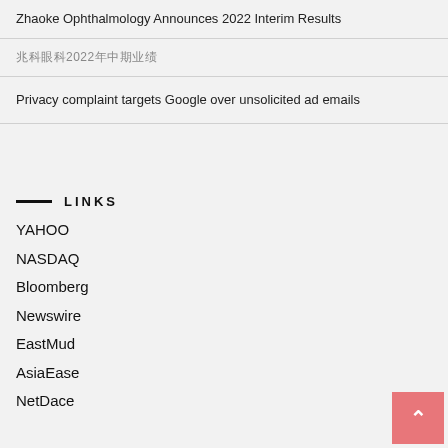Zhaoke Ophthalmology Announces 2022 Interim Results
兆科眼科2022年中期业绩
Privacy complaint targets Google over unsolicited ad emails
LINKS
YAHOO
NASDAQ
Bloomberg
Newswire
EastMud
AsiaEase
NetDace